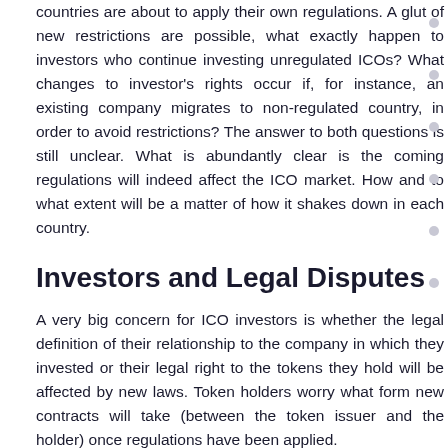countries are about to apply their own regulations. A glut of new restrictions are possible, what exactly happen to investors who continue investing unregulated ICOs? What changes to investor's rights occur if, for instance, an existing company migrates to non-regulated country, in order to avoid restrictions? The answer to both questions is still unclear. What is abundantly clear is the coming regulations will indeed affect the ICO market. How and to what extent will be a matter of how it shakes down in each country.
Investors and Legal Disputes
A very big concern for ICO investors is whether the legal definition of their relationship to the company in which they invested or their legal right to the tokens they hold will be affected by new laws. Token holders worry what form new contracts will take (between the token issuer and the holder) once regulations have been applied.